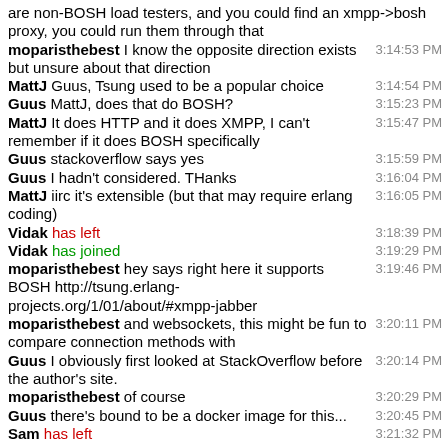are non-BOSH load testers, and you could find an xmpp->bosh proxy, you could run them through that
moparisthebest I know the opposite direction exists but unsure about that direction 3:14:53 PM
MattJ Guus, Tsung used to be a popular choice 3:14:54 PM
Guus MattJ, does that do BOSH? 3:15:23 PM
MattJ It does HTTP and it does XMPP, I can't remember if it does BOSH specifically 3:15:47 PM
Guus stackoverflow says yes 3:15:59 PM
Guus I hadn't considered. THanks 3:16:04 PM
MattJ iirc it's extensible (but that may require erlang coding) 3:16:05 PM
Vidak has left 3:18:39 PM
Vidak has joined 3:19:29 PM
moparisthebest hey says right here it supports BOSH http://tsung.erlang-projects.org/1/01/about/#xmpp-jabber 3:19:46 PM
moparisthebest and websockets, this might be fun to compare connection methods with 3:20:11 PM
Guus I obviously first looked at StackOverflow before the author's site. 3:20:14 PM
moparisthebest of course 3:20:29 PM
Guus there's bound to be a docker image for this... 3:20:45 PM
Sam has left 3:21:32 PM